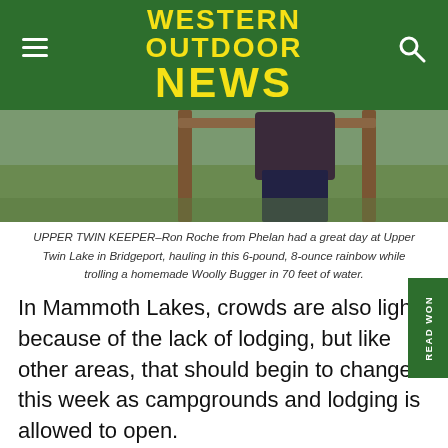WESTERN OUTDOOR NEWS
[Figure (photo): Partial photo of a person standing outdoors in front of a wooden frame structure on grass]
UPPER TWIN KEEPER–Ron Roche from Phelan had a great day at Upper Twin Lake in Bridgeport, hauling in this 6-pound, 8-ounce rainbow while trolling a homemade Woolly Bugger in 70 feet of water.
In Mammoth Lakes, crowds are also light because of the lack of lodging, but like other areas, that should begin to change this week as campgrounds and lodging is allowed to open.
A big problem is the road into the lakes basin.
Rick Flamson at Rick's Sports Center said because of logging and work being done, it could be another two